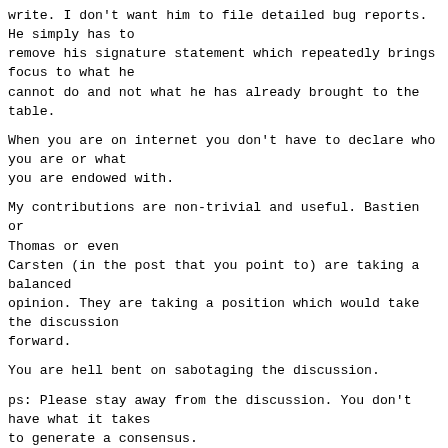write. I don't want him to file detailed bug reports. He simply has to
remove his signature statement which repeatedly brings focus to what he
cannot do and not what he has already brought to the
table.
When you are on internet you don't have to declare who you are or what
you are endowed with.
My contributions are non-trivial and useful. Bastien or Thomas or even
Carsten (in the post that you point to) are taking a balanced
opinion. They are taking a position which would take the discussion
forward.
You are hell bent on sabotaging the discussion.
ps: Please stay away from the discussion. You don't have what it takes
to generate a consensus.
Jambunathan K.
^ permalink raw reply   [flat|nested] 84+ messages in thread